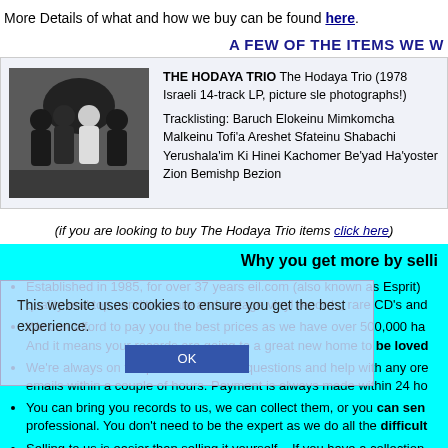More Details of what and how we buy can be found here.
A FEW OF THE ITEMS WE W
[Figure (photo): Album cover photo of The Hodaya Trio showing four people in formal attire]
THE HODAYA TRIO The Hodaya Trio (1978 Israeli 14-track LP, picture sle photographs!) Tracklisting: Baruch Elokeinu Mimkomcha Malkeinu Tofi'a Areshet Sfateinu Shabachi Yerushala'im Ki Hinei Kachomer Be'yad Ha'yoster Zion Bemishp Bezion
(if you are looking to buy The Hodaya Trio items click here)
Why you get more by selli
Established in 1985, for over 37 years eil.com (also known as Esprit) quality and top condition rare and vintage vinyl records, rare CD's and
We can afford to pay you the best prices as we have over 500,000 ha And it means your records are going to a great new home to be loved
We're always on the phone to answer questions and help with any ord emails within a couple of hours. Payment is always made within 24 ho
You can bring you records to us, we can collect them, or you can sen professional. You don't need to be the expert as we do all the difficult
Selling to us is easier than selling it yourself – If you have a collection Ebay, lots of questions to deal with, 20 different parcels to package (a or damaged in the post and possible fraud. So often a daunting and ti to us.